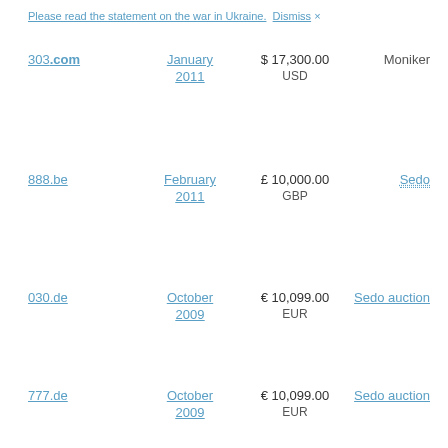Please read the statement on the war in Ukraine. Dismiss ×
| Domain | Date | Price | Venue |
| --- | --- | --- | --- |
| 303.com | January 2011 | $ 17,300.00 USD | Moniker |
| 888.be | February 2011 | £ 10,000.00 GBP | Sedo |
| 030.de | October 2009 | € 10,099.00 EUR | Sedo auction |
| 777.de | October 2009 | € 10,099.00 EUR | Sedo auction |